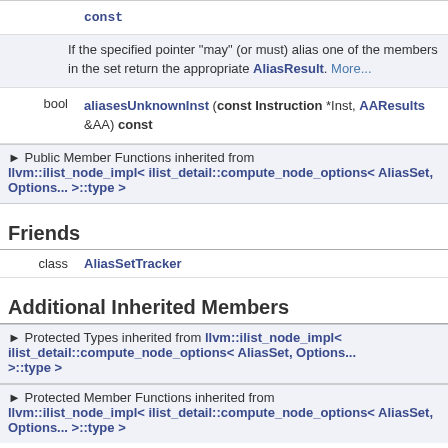|  | const |
|  | If the specified pointer "may" (or must) alias one of the members in the set return the appropriate AliasResult. More... |
| bool | aliasesUnknownInst (const Instruction *Inst, AAResults &AA) const |
▶ Public Member Functions inherited from llvm::ilist_node_impl< ilist_detail::compute_node_options< AliasSet, Options... >::type >
Friends
| class | AliasSetTracker |
Additional Inherited Members
▶ Protected Types inherited from llvm::ilist_node_impl< ilist_detail::compute_node_options< AliasSet, Options... >::type >
▶ Protected Member Functions inherited from llvm::ilist_node_impl< ilist_detail::compute_node_options< AliasSet, Options... >::type >